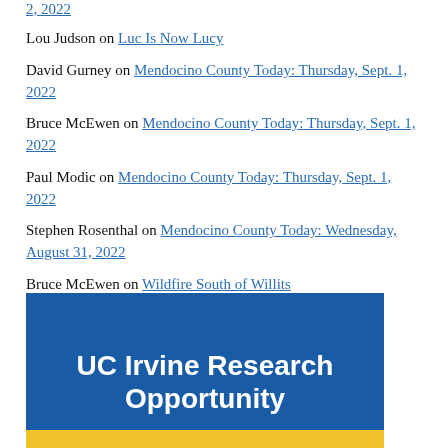2, 2022
Lou Judson on Luc Is Now Lucy
David Gurney on Mendocino County Today: Thursday, Sept. 1, 2022
Bruce McEwen on Mendocino County Today: Thursday, Sept. 1, 2022
Paul Modic on Mendocino County Today: Thursday, Sept. 1, 2022
Stephen Rosenthal on Mendocino County Today: Wednesday, August 31, 2022
Bruce McEwen on Wildfire South of Willits
[Figure (infographic): UC Irvine Research Opportunity banner ad with blue background and gold bar at bottom]